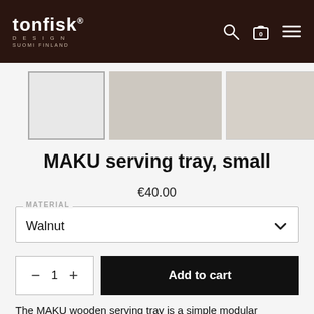tonfisk DESIGN SUOMI FINLAND
[Figure (photo): Product thumbnails: active selected thumbnail (light gray box) and two inactive product image thumbnails]
MAKU serving tray, small
€40.00
MATERIAL
Walnut
1  Add to cart
The MAKU wooden serving tray is a simple modular